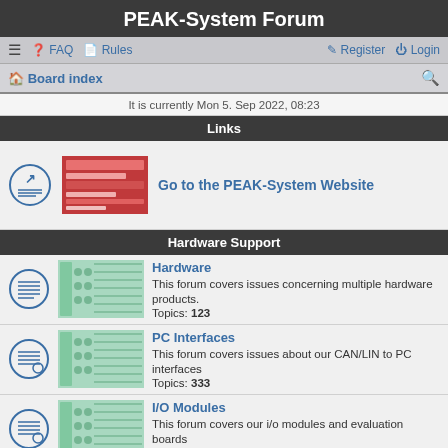PEAK-System Forum
≡  FAQ  Rules    Register  Login
Board index
It is currently Mon 5. Sep 2022, 08:23
Links
Go to the PEAK-System Website
Hardware Support
Hardware
This forum covers issues concerning multiple hardware products.
Topics: 123
PC Interfaces
This forum covers issues about our CAN/LIN to PC interfaces
Topics: 333
I/O Modules
This forum covers our i/o modules and evaluation boards
Topics: 81